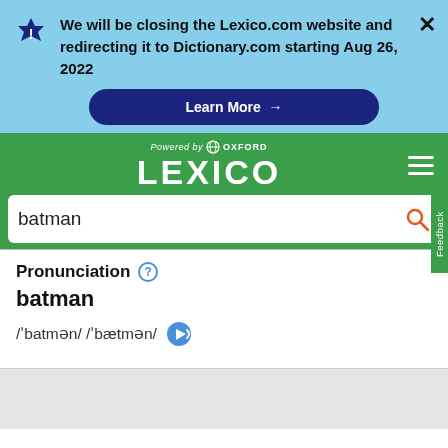We will be closing the Lexico.com website and redirecting it to Dictionary.com starting Aug 26, 2022
Learn More →
[Figure (logo): Lexico logo powered by Oxford]
batman (search query)
Pronunciation batman
/ˈbatmən/ /ˈbætmən/